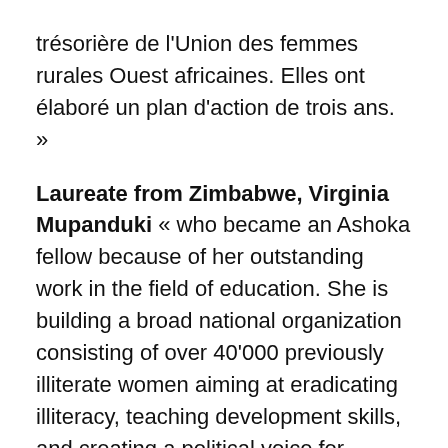trésorière de l'Union des femmes rurales Ouest africaines. Elles ont élaboré un plan d'action de trois ans. »
Laureate from Zimbabwe, Virginia Mupanduki « who became an Ashoka fellow because of her outstanding work in the field of education. She is building a broad national organization consisting of over 40'000 previously illiterate women aiming at eradicating illiteracy, teaching development skills, and creating a political voice for women. »
Laureate from India, M. Rani « Visited WWSF in Geneva and shared the beautiful handicraft work done by 1'300 rural women of the SHAPE